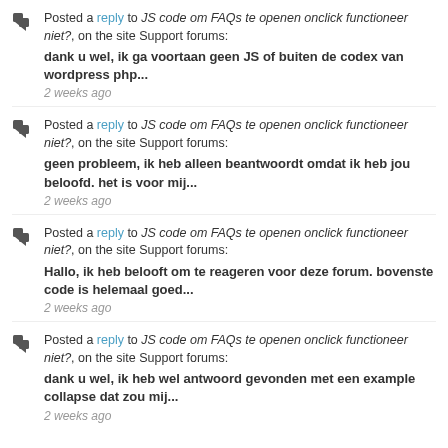Posted a reply to JS code om FAQs te openen onclick functioneer niet?, on the site Support forums: dank u wel, ik ga voortaan geen JS of buiten de codex van wordpress php... 2 weeks ago
Posted a reply to JS code om FAQs te openen onclick functioneer niet?, on the site Support forums: geen probleem, ik heb alleen beantwoordt omdat ik heb jou beloofd. het is voor mij... 2 weeks ago
Posted a reply to JS code om FAQs te openen onclick functioneer niet?, on the site Support forums: Hallo, ik heb belooft om te reageren voor deze forum. bovenste code is helemaal goed... 2 weeks ago
Posted a reply to JS code om FAQs te openen onclick functioneer niet?, on the site Support forums: dank u wel, ik heb wel antwoord gevonden met een example collapse dat zou mij... 2 weeks ago